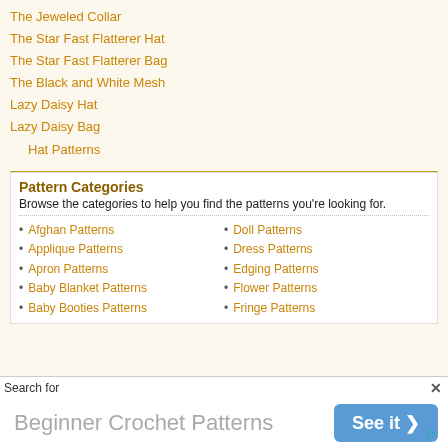The Jeweled Collar
The Star Fast Flatterer Hat
The Star Fast Flatterer Bag
The Black and White Mesh
Lazy Daisy Hat
Lazy Daisy Bag
Hat Patterns
Pattern Categories
Browse the categories to help you find the patterns you're looking for.
Afghan Patterns
Applique Patterns
Apron Patterns
Baby Blanket Patterns
Baby Booties Patterns
Doll Patterns
Dress Patterns
Edging Patterns
Flower Patterns
Fringe Patterns
Search for
Beginner Crochet Patterns   See it ❯